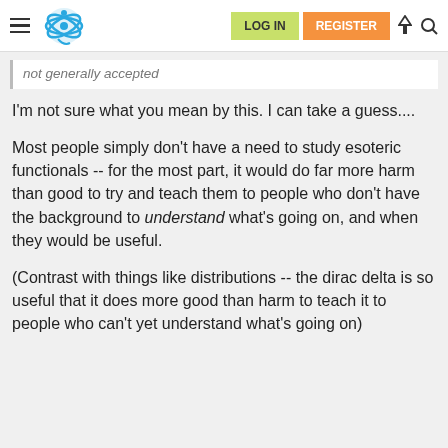LOG IN | REGISTER
not generally accepted
I'm not sure what you mean by this. I can take a guess....
Most people simply don't have a need to study esoteric functionals -- for the most part, it would do far more harm than good to try and teach them to people who don't have the background to understand what's going on, and when they would be useful.
(Contrast with things like distributions -- the dirac delta is so useful that it does more good than harm to teach it to people who can't yet understand what's going on)